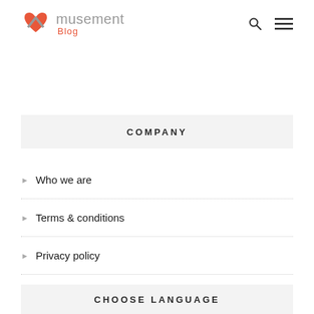musement Blog
COMPANY
Who we are
Terms & conditions
Privacy policy
Cookies
CHOOSE LANGUAGE